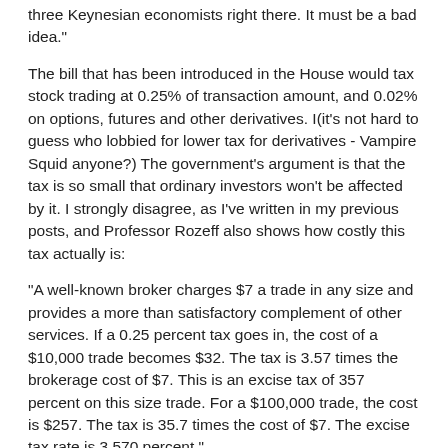three Keynesian economists right there. It must be a bad idea."
The bill that has been introduced in the House would tax stock trading at 0.25% of transaction amount, and 0.02% on options, futures and other derivatives. I(it's not hard to guess who lobbied for lower tax for derivatives - Vampire Squid anyone?) The government's argument is that the tax is so small that ordinary investors won't be affected by it. I strongly disagree, as I've written in my previous posts, and Professor Rozeff also shows how costly this tax actually is:
"A well-known broker charges $7 a trade in any size and provides a more than satisfactory complement of other services. If a 0.25 percent tax goes in, the cost of a $10,000 trade becomes $32. The tax is 3.57 times the brokerage cost of $7. This is an excise tax of 357 percent on this size trade. For a $100,000 trade, the cost is $257. The tax is 35.7 times the cost of $7. The excise tax rate is 3,570 percent."
He notes that in the 1960s the cost to trade was very high, with commissions making up a large part of the cost (1%).